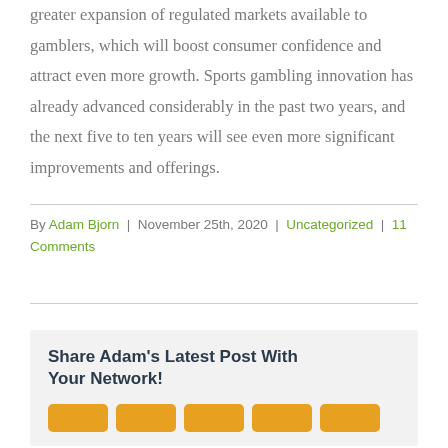greater expansion of regulated markets available to gamblers, which will boost consumer confidence and attract even more growth. Sports gambling innovation has already advanced considerably in the past two years, and the next five to ten years will see even more significant improvements and offerings.
By Adam Bjorn | November 25th, 2020 | Uncategorized | 11 Comments
Share Adam's Latest Post With Your Network!